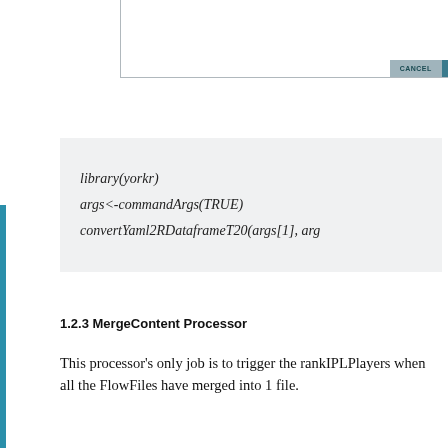[Figure (screenshot): Dialog box bottom portion with Cancel and Apply buttons in the bottom right corner, on a white background with gray border.]
library(yorkr)
args<-commandArgs(TRUE)
convertYaml2RDataframeT20(args[1], args...
1.2.3 MergeContent Processor
This processor's only job is to trigger the rankIPLPlayers when all the FlowFiles have merged into 1 file.